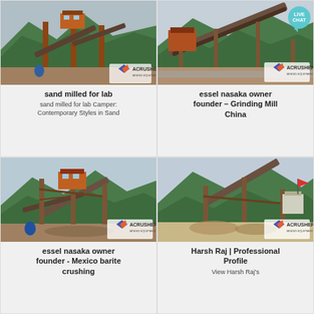[Figure (photo): Mining/crushing equipment facility with conveyor belts, mountains in background, Acrusher Mining Equipment logo]
sand milled for lab
sand milled for lab Camper: Contemporary Styles in Sand
[Figure (photo): Mining conveyor belt equipment facility with mountains in background, Acrusher Mining Equipment logo, live chat bubble]
essel nasaka owner founder – Grinding Mill China
[Figure (photo): Mining crushing equipment facility with conveyor belts and mountains, Acrusher Mining Equipment logo]
essel nasaka owner founder - Mexico barite crushing
[Figure (photo): Mining equipment and conveyor structure with mountains and red flag visible, Acrusher Mining Equipment logo]
Harsh Raj | Professional Profile
View Harsh Raj's